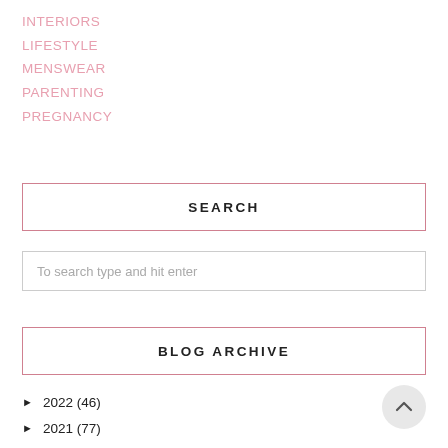INTERIORS
LIFESTYLE
MENSWEAR
PARENTING
PREGNANCY
SEARCH
To search type and hit enter
BLOG ARCHIVE
► 2022 (46)
► 2021 (77)